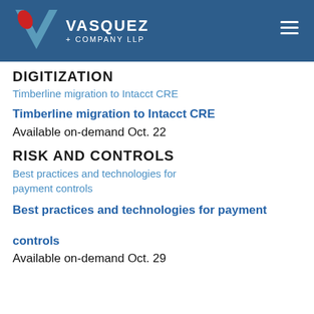VASQUEZ + COMPANY LLP
DIGITIZATION
Timberline migration to Intacct CRE
Timberline migration to Intacct CRE
Available on-demand Oct. 22
RISK AND CONTROLS
Best practices and technologies for payment controls
Best practices and technologies for payment controls
Available on-demand Oct. 29